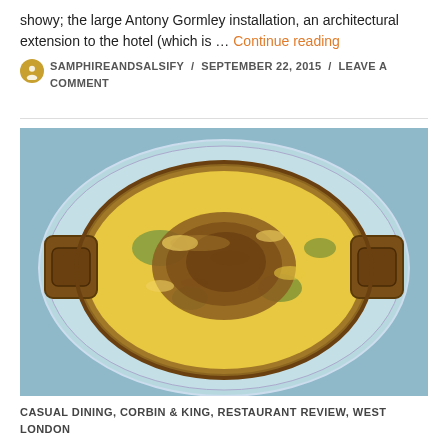showy; the large Antony Gormley installation, an architectural extension to the hotel (which is … Continue reading
SAMPHIREANDSALSIFY / SEPTEMBER 22, 2015 / LEAVE A COMMENT
[Figure (photo): Top-down photo of a baked macaroni or pasta gratin dish in a round copper pan with handles, served on a decorative light blue plate, with golden melted cheese and browned breadcrumb topping, placed on a blue tablecloth.]
CASUAL DINING, CORBIN & KING, RESTAURANT REVIEW, WEST LONDON